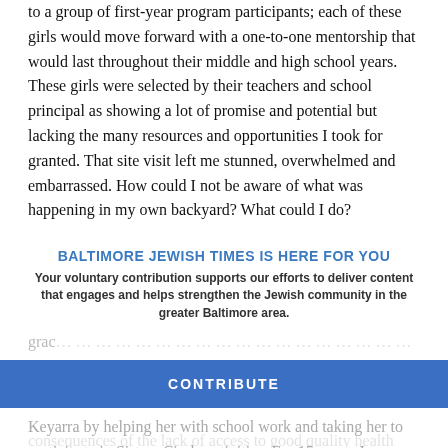to a group of first-year program participants; each of these girls would move forward with a one-to-one mentorship that would last throughout their middle and high school years. These girls were selected by their teachers and school principal as showing a lot of promise and potential but lacking the many resources and opportunities I took for granted. That site visit left me stunned, overwhelmed and embarrassed. How could I not be aware of what was happening in my own backyard? What could I do?
I decided to become a mentor. This was the beginning of my front row seat to the life of a family living on public assistance. Since meet… [obscured] …the grace… [obscured] …hand the social and educational inequities in our society, the consequences of the lack of access to good quality health care and… [obscured]
BALTIMORE JEWISH TIMES IS HERE FOR YOU
Your voluntary contribution supports our efforts to deliver content that engages and helps strengthen the Jewish community in the greater Baltimore area.
CONTRIBUTE
Keyarra by helping her with school work and taking her to participate in Sisters Circle activities. For 15 years, I enrolled...